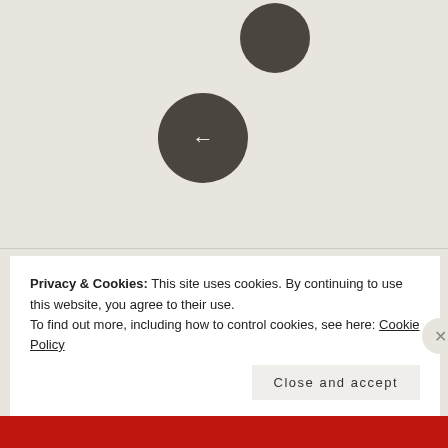[Figure (illustration): Two overlapping dark circular navigation buttons on a beige background. The front circle contains a left-pointing arrow (back button), and a second circle is partially visible behind it.]
Leave a Reply
Your email address will not be published. Required fields are marked *
COMMENT *
Privacy & Cookies: This site uses cookies. By continuing to use this website, you agree to their use.
To find out more, including how to control cookies, see here: Cookie Policy
Close and accept